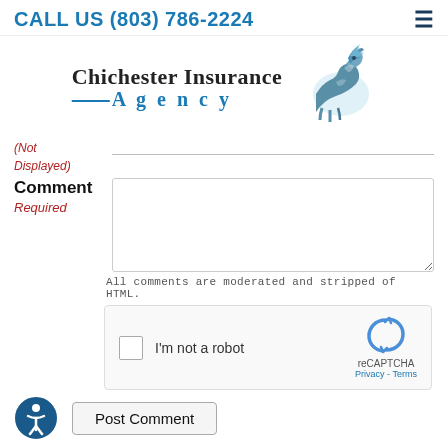CALL US (803) 786-2224
[Figure (logo): Chichester Insurance Agency logo with horse graphic and blue accent]
(Not Displayed)
Comment
Required
All comments are moderated and stripped of HTML.
[Figure (screenshot): reCAPTCHA widget with checkbox 'I'm not a robot']
[Figure (illustration): Accessibility icon (person in circle)]
Post Comment